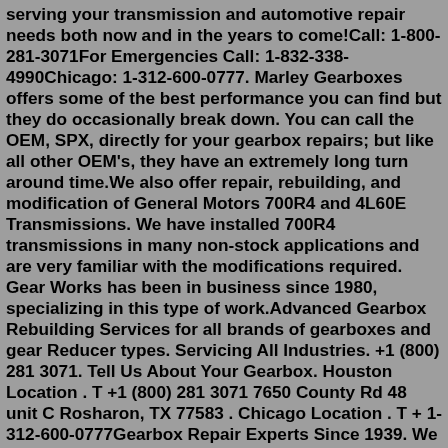serving your transmission and automotive repair needs both now and in the years to come!Call: 1-800-281-3071For Emergencies Call: 1-832-338-4990Chicago: 1-312-600-0777. Marley Gearboxes offers some of the best performance you can find but they do occasionally break down. You can call the OEM, SPX, directly for your gearbox repairs; but like all other OEM's, they have an extremely long turn around time.We also offer repair, rebuilding, and modification of General Motors 700R4 and 4L60E Transmissions. We have installed 700R4 transmissions in many non-stock applications and are very familiar with the modifications required. Gear Works has been in business since 1980, specializing in this type of work.Advanced Gearbox Rebuilding Services for all brands of gearboxes and gear Reducer types. Servicing All Industries. +1 (800) 281 3071. Tell Us About Your Gearbox. Houston Location . T +1 (800) 281 3071 7650 County Rd 48 unit C Rosharon, TX 77583 . Chicago Location . T + 1-312-600-0777Gearbox Repair Experts Since 1939. We Rebuild